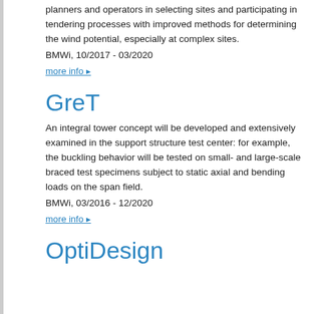planners and operators in selecting sites and participating in tendering processes with improved methods for determining the wind potential, especially at complex sites.
BMWi, 10/2017 - 03/2020
more info ▸
GreT
An integral tower concept will be developed and extensively examined in the support structure test center: for example, the buckling behavior will be tested on small- and large-scale braced test specimens subject to static axial and bending loads on the span field.
BMWi, 03/2016 - 12/2020
more info ▸
OptiDesign